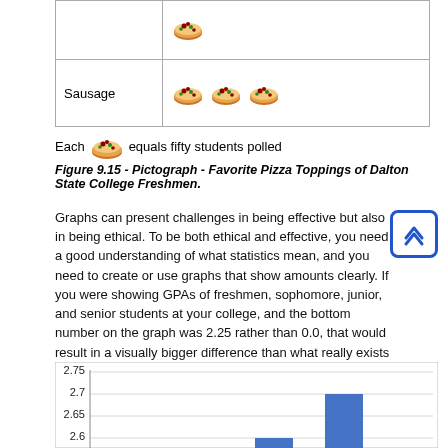|  |  |
| --- | --- |
|  | (pizza icons row above) |
| Sausage | (3 pizza icons) |
Each [pizza icon] equals fifty students polled
Figure 9.15 - Pictograph - Favorite Pizza Toppings of Dalton State College Freshmen.
Graphs can present challenges in being effective but also in being ethical. To be both ethical and effective, you need a good understanding of what statistics mean, and you need to create or use graphs that show amounts clearly. If you were showing GPAs of freshmen, sophomore, junior, and senior students at your college, and the bottom number on the graph was 2.25 rather than 0.0, that would result in a visually bigger difference than what really exists (see Figure 9.16).
[Figure (bar-chart): Partial bar chart visible, y-axis showing values 2.6, 2.65, 2.7, 2.75]